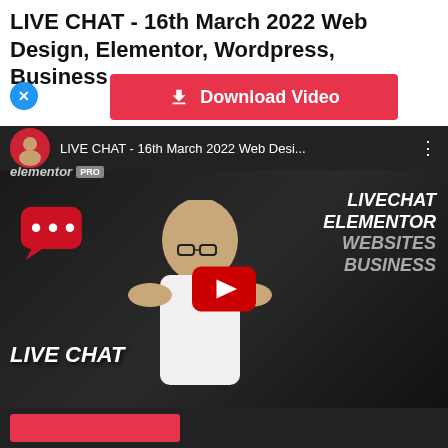LIVE CHAT - 16th March 2022 Web Design, Elementor, Wordpress, Business
[Figure (screenshot): Download Video button (red) with download icon and a close (X) blue circle button to its left]
[Figure (screenshot): YouTube video embed showing a live chat thumbnail with a man in white t-shirt, 'LIVE CHAT' text, red speech bubble with dots, and right side text: LIVECHAT ELEMENTOR WEBSITES BUSINESS. Top bar shows channel avatar, video title 'LIVE CHAT - 16th March 2022 Web Desi...' and more options dots. Elementor PRO badge visible.]
[Figure (screenshot): Partial red button visible at bottom of page]